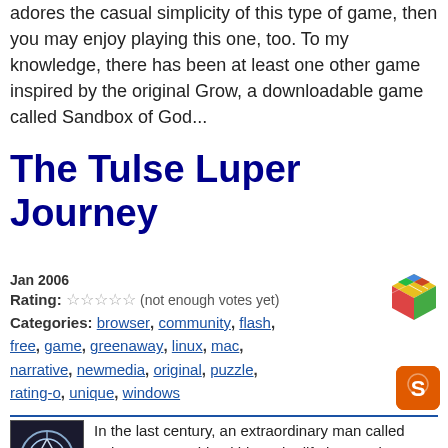adores the casual simplicity of this type of game, then you may enjoy playing this one, too. To my knowledge, there has been at least one other game inspired by the original Grow, a downloadable game called Sandbox of God...
The Tulse Luper Journey
Jan 2006
Rating: ☆☆☆☆☆ (not enough votes yet)
Categories: browser, community, flash, free, game, greenaway, linux, mac, narrative, newmedia, original, puzzle, rating-o, unique, windows
[Figure (illustration): Colorful Rubik's cube icon]
[Figure (illustration): Orange smiley face icon with letter S]
In the last century, an extraordinary man called Tulse Luper archived his entire life in 92 suitcases. It seems he was a witness to several key events in the 20th century. The Tulse Luper Journey is a game that is part of an ambitious series of multi-media projects initiated by film director Peter Greenaway and based on the adventures of this mysterious lead